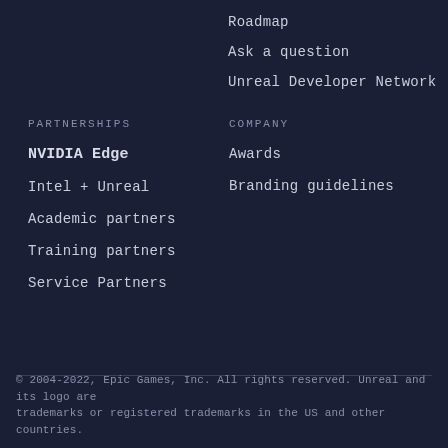Roadmap
Ask a question
Unreal Developer Network
PARTNERSHIPS
NVIDIA Edge
Intel + Unreal
Academic partners
Training partners
Service Partners
COMPANY
Awards
Branding guidelines
© 2004-2022, Epic Games, Inc. All rights reserved. Unreal and its logo are trademarks or registered trademarks in the US and other countries.